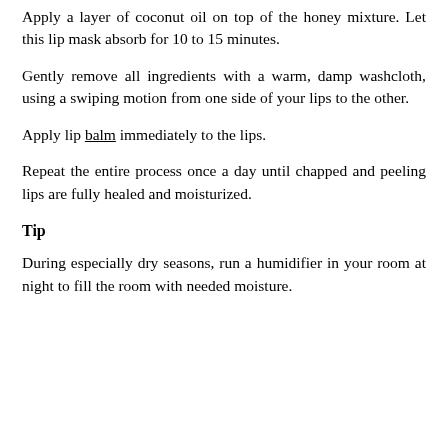Apply a layer of coconut oil on top of the honey mixture. Let this lip mask absorb for 10 to 15 minutes.
Gently remove all ingredients with a warm, damp washcloth, using a swiping motion from one side of your lips to the other.
Apply lip balm immediately to the lips.
Repeat the entire process once a day until chapped and peeling lips are fully healed and moisturized.
Tip
During especially dry seasons, run a humidifier in your room at night to fill the room with needed moisture.